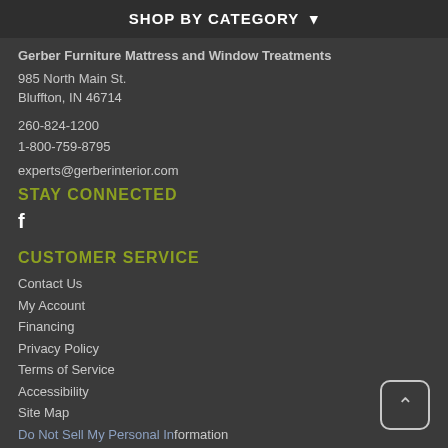SHOP BY CATEGORY ▾
Gerber Furniture Mattress and Window Treatments
985 North Main St.
Bluffton, IN 46714
260-824-1200
1-800-759-8795
experts@gerberinterior.com
STAY CONNECTED
f
CUSTOMER SERVICE
Contact Us
My Account
Financing
Privacy Policy
Terms of Service
Accessibility
Site Map
Do Not Sell My Personal Information